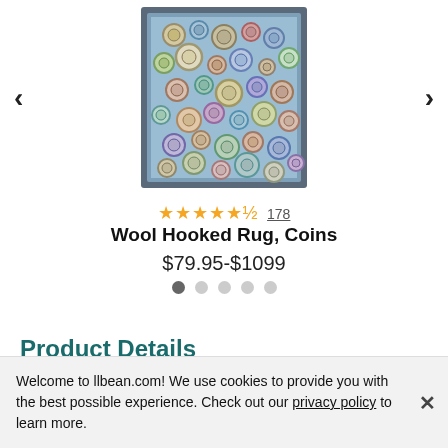[Figure (photo): A wool hooked rug with a coins pattern — multicolored circular medallions on a blue field with a dark border, displayed as a product image on a white background]
★★★★★½ 178
Wool Hooked Rug, Coins
$79.95-$1099
[Figure (other): Image carousel navigation dots: one dark dot (active) and four light dots (inactive)]
Product Details
Welcome to llbean.com! We use cookies to provide you with the best possible experience. Check out our privacy policy to learn more.